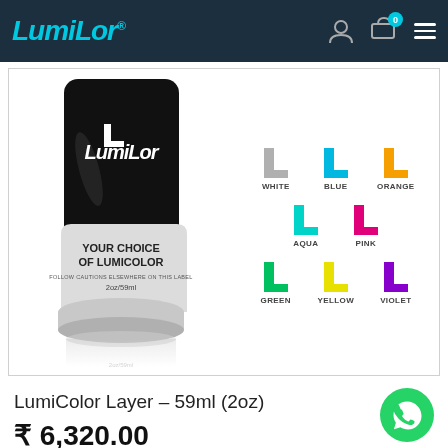LumiLor navigation header with logo, account icon, cart (0), and menu
[Figure (photo): LumiLor product bottle (black and white, 2oz/59ml) with label reading YOUR CHOICE OF LUMICOLOR FOLLOW CAUTIONS ELSEWHERE ON THIS LABEL 2oz/59ml, alongside a color selection grid showing WHITE, BLUE, ORANGE, AQUA, PINK, GREEN, YELLOW, VIOLET color options with L-shaped logo icons in each color]
LumiColor Layer – 59ml (2oz)
₹ 6,320.00